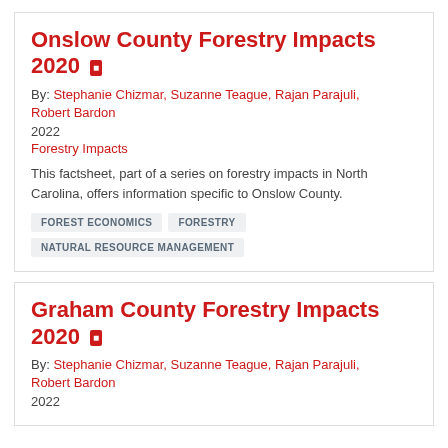Onslow County Forestry Impacts 2020
By: Stephanie Chizmar, Suzanne Teague, Rajan Parajuli, Robert Bardon
2022
Forestry Impacts
This factsheet, part of a series on forestry impacts in North Carolina, offers information specific to Onslow County.
FOREST ECONOMICS
FORESTRY
NATURAL RESOURCE MANAGEMENT
Graham County Forestry Impacts 2020
By: Stephanie Chizmar, Suzanne Teague, Rajan Parajuli, Robert Bardon
2022